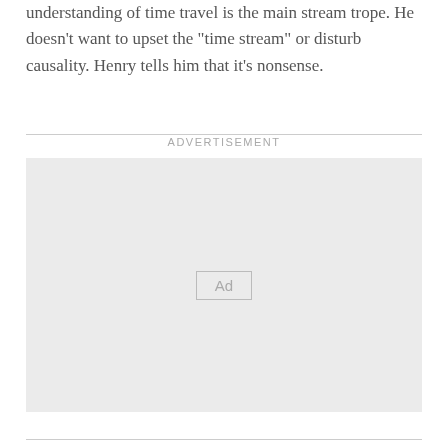understanding of time travel is the main stream trope. He doesn't want to upset the “time stream” or disturb causality. Henry tells him that it’s nonsense.
[Figure (other): Advertisement placeholder box with 'Ad' label centered inside a light gray rectangle, preceded by an ADVERTISEMENT heading label.]